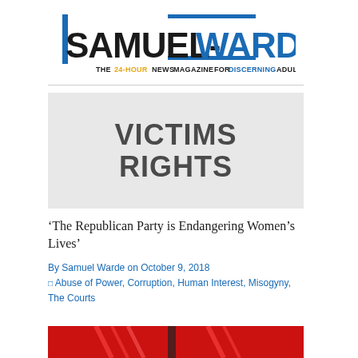[Figure (logo): Samuel-Warde logo with tagline 'THE 24-HOUR NEWS MAGAZINE FOR DISCERNING ADULTS']
[Figure (illustration): Grey box with large bold text 'VICTIMS RIGHTS']
‘The Republican Party is Endangering Women’s Lives’
By Samuel Warde on October 9, 2018
□ Abuse of Power, Corruption, Human Interest, Misogyny, The Courts
[Figure (photo): Red image at bottom, partially visible]